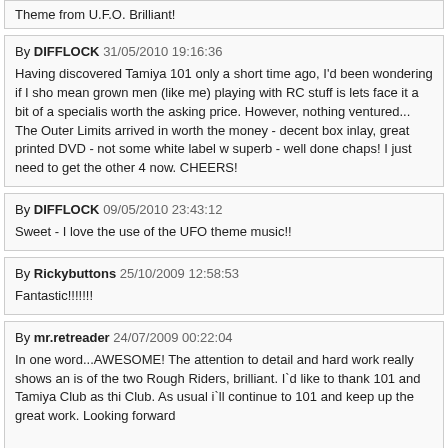Theme from U.F.O. Brilliant!
By DIFFLOCK 31/05/2010 19:16:36
Having discovered Tamiya 101 only a short time ago, I'd been wondering if I sho... mean grown men (like me) playing with RC stuff is lets face it a bit of a specialis... worth the asking price. However, nothing ventured... The Outer Limits arrived in... worth the money - decent box inlay, great printed DVD - not some white label w... superb - well done chaps! I just need to get the other 4 now. CHEERS!
By DIFFLOCK 09/05/2010 23:43:12
Sweet - I love the use of the UFO theme music!!
By Rickybuttons 25/10/2009 12:58:53
Fantastic!!!!!!!
By mr.retreader 24/07/2009 00:22:04
In one word...AWESOME! The attention to detail and hard work really shows an... is of the two Rough Riders, brilliant. I`d like to thank 101 and Tamiya Club as thi... Club. As usual i`ll continue to 101 and keep up the great work. Looking forward...

Cheers,